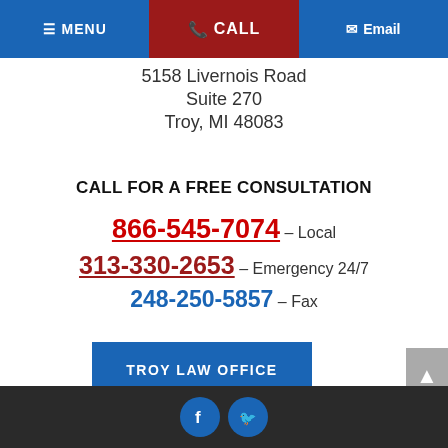MENU | CALL | Email
5158 Livernois Road
Suite 270
Troy, MI 48083
CALL FOR A FREE CONSULTATION
866-545-7074 – Local
313-330-2653 – Emergency 24/7
248-250-5857 – Fax
TROY LAW OFFICE
Social media icons: Facebook, Twitter